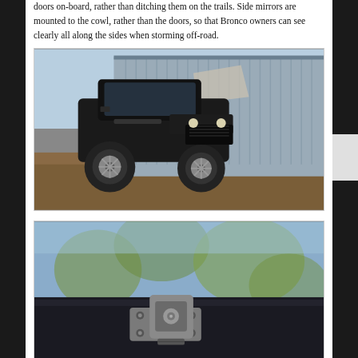doors on-board, rather than ditching them on the trails. Side mirrors are mounted to the cowl, rather than the doors, so that Bronco owners can see clearly all along the sides when storming off-road.
[Figure (photo): A black Ford Bronco SUV parked on rough dirt ground in front of a large corrugated metal warehouse building, photographed in natural daylight from a front-left angle.]
[Figure (photo): Close-up detail shot of what appears to be a vehicle mirror mount or hinge hardware on a dark-colored vehicle surface, with blurred trees and sky in the background.]